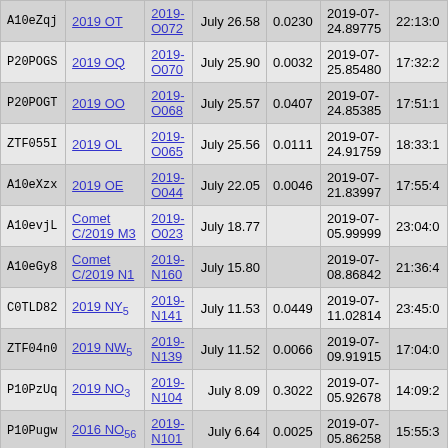| ID | Name | MPC | Discovery | H | e | Date | Time |
| --- | --- | --- | --- | --- | --- | --- | --- |
| A10eZqj | 2019 OT | 2019-O072 | July 26.58 | 0.0230 | 2019-07-24.89775 | 22:13:0 |
| P20POGS | 2019 OQ | 2019-O070 | July 25.90 | 0.0032 | 2019-07-25.85480 | 17:32:2 |
| P20POGT | 2019 OO | 2019-O068 | July 25.57 | 0.0407 | 2019-07-24.85385 | 17:51:1 |
| ZTF055I | 2019 OL | 2019-O065 | July 25.56 | 0.0111 | 2019-07-24.91759 | 18:33:1 |
| A10eXzx | 2019 OE | 2019-O044 | July 22.05 | 0.0046 | 2019-07-21.83997 | 17:55:4 |
| A10evjL | Comet C/2019 M3 | 2019-O023 | July 18.77 |  | 2019-07-05.99999 | 23:04:0 |
| A10eGy8 | Comet C/2019 N1 | 2019-N160 | July 15.80 |  | 2019-07-08.86842 | 21:36:4 |
| C0TLD82 | 2019 NY5 | 2019-N141 | July 11.53 | 0.0449 | 2019-07-11.02814 | 23:45:0 |
| ZTF04n0 | 2019 NW5 | 2019-N139 | July 11.52 | 0.0066 | 2019-07-09.91915 | 17:04:0 |
| P10PzUq | 2019 NO3 | 2019-N104 | July 8.09 | 0.3022 | 2019-07-05.92678 | 14:09:2 |
| P10Pugw | 2016 NO56 | 2019-N101 | July 6.64 | 0.0025 | 2019-07-05.86258 | 15:55:3 |
| A10i7i0 | 2019 NN | 2019- | July 6.13 | 0.0042 | 2019-07- |  |